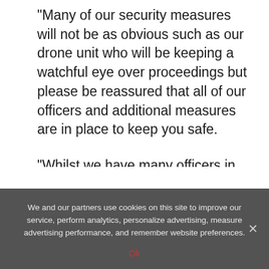"Many of our security measures will not be as obvious such as our drone unit who will be keeping a watchful eye over proceedings but please be reassured that all of our officers and additional measures are in place to keep you safe.
"Whilst we have many officers in the area, you will always have a unique perspective from what you can see and hear first hand.
"I encourage you to call out inappropriate
We and our partners use cookies on this site to improve our service, perform analytics, personalize advertising, measure advertising performance, and remember website preferences.
Ok